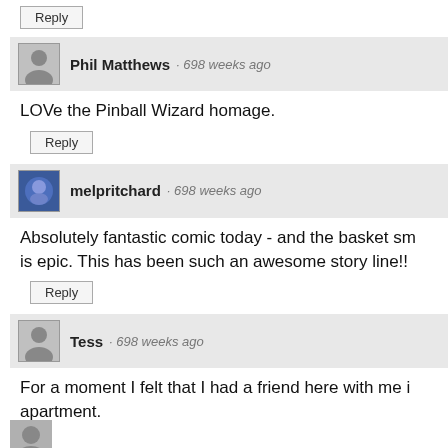Reply
Phil Matthews · 698 weeks ago
LOVe the Pinball Wizard homage.
Reply
melpritchard · 698 weeks ago
Absolutely fantastic comic today - and the basket sm... is epic. This has been such an awesome story line!!
Reply
Tess · 698 weeks ago
For a moment I felt that I had a friend here with me i... apartment.

Then I realized I was just reading Octopus Pie.
Reply